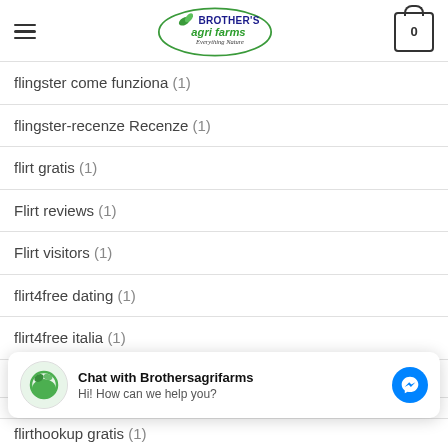Brother's Agri Farms - Everything Nature
flingster come funziona (1)
flingster-recenze Recenze (1)
flirt gratis (1)
Flirt reviews (1)
Flirt visitors (1)
flirt4free dating (1)
flirt4free italia (1)
Flirt4free review (1)
[Figure (screenshot): Chat with Brothersagrifarms Facebook Messenger widget. Shows logo avatar, title 'Chat with Brothersagrifarms', subtitle 'Hi! How can we help you?', and blue Messenger icon button.]
flirthookup gratis (1)